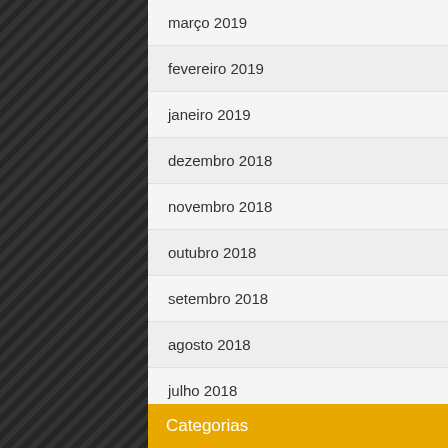| month_left | month_right |
| --- | --- |
| março 2019 | dezembro 2014 |
| fevereiro 2019 | novembro 2014 |
| janeiro 2019 | outubro 2014 |
| dezembro 2018 | setembro 2014 |
| novembro 2018 | agosto 2014 |
| outubro 2018 | maio 2014 |
| setembro 2018 | abril 2014 |
| agosto 2018 | março 2014 |
| julho 2018 | fevereiro 2014 |
| junho 2018 | janeiro 2014 |
Categorias